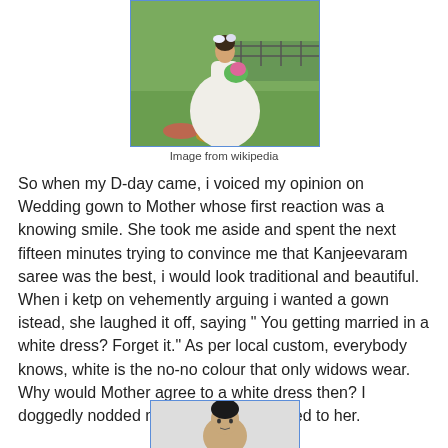[Figure (photo): A bride in a white wedding gown holding a bouquet, standing in a green field with a fence in the background. Flowers visible at her feet.]
Image from wikipedia
So when my D-day came, i voiced my opinion on Wedding gown to Mother whose first reaction was a knowing smile. She took me aside and spent the next fifteen minutes trying to convince me that Kanjeevaram saree was the best, i would look traditional and beautiful. When i ketp on vehemently arguing i wanted a gown istead, she laughed it off, saying " You getting married in a white dress? Forget it." As per local custom, everybody knows, white is the no-no colour that only widows wear. Why would Mother agree to a white dress then? I doggedly nodded my head and submitted to her.
[Figure (photo): Partial photo of a person visible at the bottom of the page, cropped.]